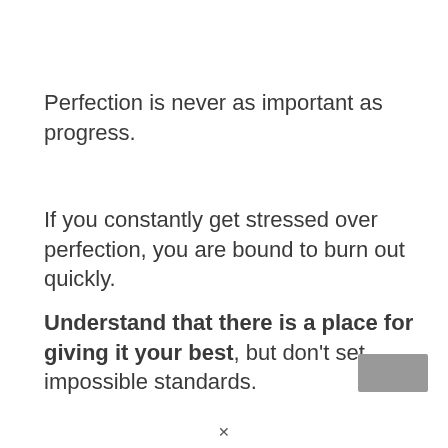Perfection is never as important as progress.
If you constantly get stressed over perfection, you are bound to burn out quickly.
Understand that there is a place for giving it your best, but don't set impossible standards.